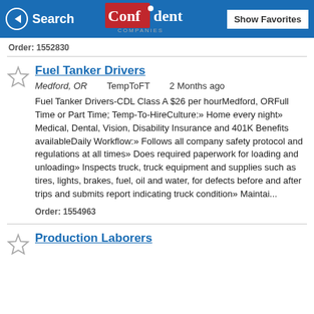Search | Confident Companies | Show Favorites
Order: 1552830
Fuel Tanker Drivers
Medford, OR   TempToFT   2 Months ago
Fuel Tanker Drivers-CDL Class A $26 per hourMedford, ORFull Time or Part Time; Temp-To-HireCulture:» Home every night» Medical, Dental, Vision, Disability Insurance and 401K Benefits availableDaily Workflow:» Follows all company safety protocol and regulations at all times» Does required paperwork for loading and unloading» Inspects truck, truck equipment and supplies such as tires, lights, brakes, fuel, oil and water, for defects before and after trips and submits report indicating truck condition» Maintai...
Order: 1554963
Production Laborers